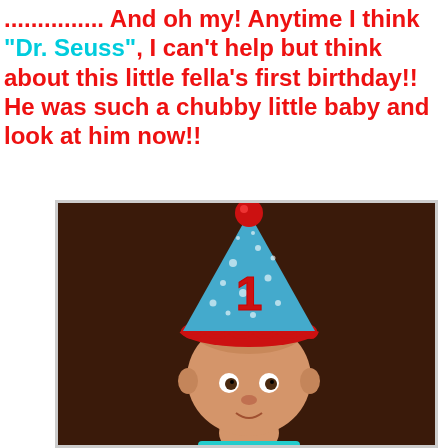.............. And oh my! Anytime I think "Dr. Seuss", I can't help but think about this little fella's first birthday!! He was such a chubby little baby and look at him now!!
[Figure (photo): A baby wearing a blue polka-dot birthday party hat with a red number '1' on it and a red ruffled brim and red pom-pom on top, set against a dark brown background.]